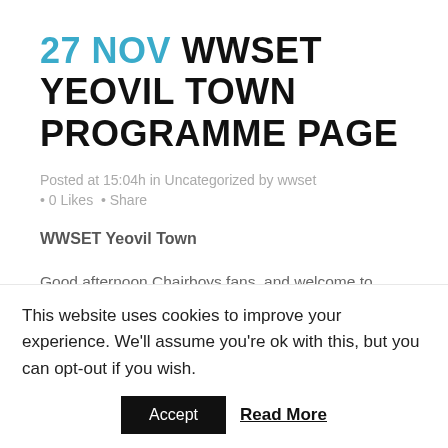27 NOV WWSET YEOVIL TOWN PROGRAMME PAGE
Posted at 15:04h in Uncategorized by wwset
• 0 Likes • Share
WWSET Yeovil Town
Good afternoon Chairboys fans, and welcome to today's fixture against Yeovil Town. We hope that both you and the Yeovil fans who have travelled to Adams Park from the South
This website uses cookies to improve your experience. We'll assume you're ok with this, but you can opt-out if you wish.